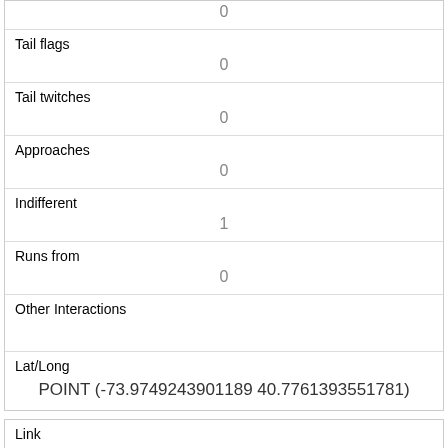|  | 0 |
| Tail flags | 0 |
| Tail twitches | 0 |
| Approaches | 0 |
| Indifferent | 1 |
| Runs from | 0 |
| Other Interactions |  |
| Lat/Long | POINT (-73.9749243901189 40.7761393551781) |
| Link | 67 |
| rowid | 67 |
| longitude |  |